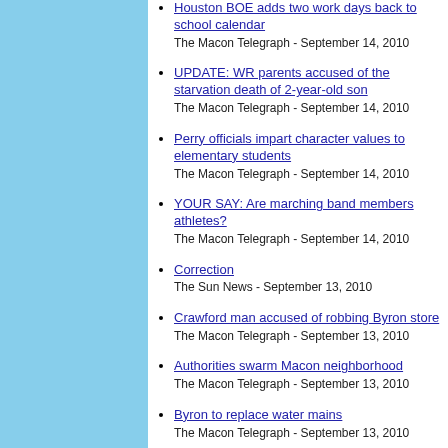Houston BOE adds two work days back to school calendar
The Macon Telegraph - September 14, 2010
UPDATE: WR parents accused of the starvation death of 2-year-old son
The Macon Telegraph - September 14, 2010
Perry officials impart character values to elementary students
The Macon Telegraph - September 14, 2010
YOUR SAY: Are marching band members athletes?
The Macon Telegraph - September 14, 2010
Correction
The Sun News - September 13, 2010
Crawford man accused of robbing Byron store
The Macon Telegraph - September 13, 2010
Authorities swarm Macon neighborhood
The Macon Telegraph - September 13, 2010
Byron to replace water mains
The Macon Telegraph - September 13, 2010
SAT scores are mixed bag in midstate
The Macon Telegraph - September 13, 2010
Zero a big numeral
The Macon Telegraph - September 13, 2010